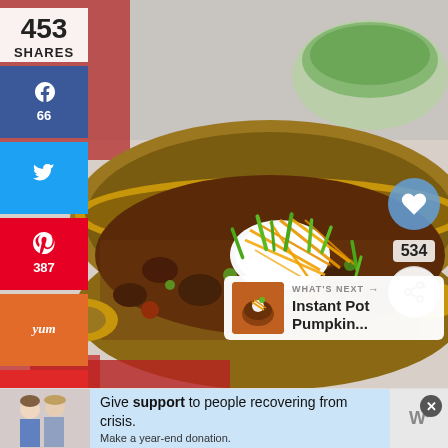[Figure (photo): A bowl of chili topped with sour cream, shredded cheddar cheese, and chopped green onions, served in a yellow-brown ceramic bowl on a red surface, with a bowl of greens in the background]
453
SHARES
[Figure (infographic): Social media share buttons sidebar: Facebook (66), Twitter, Pinterest (387), Yummly, Flipboard, Heart (7)]
534
WHAT'S NEXT → Instant Pot Pumpkin...
Give support to people recovering from crisis.
Make a year-end donation.